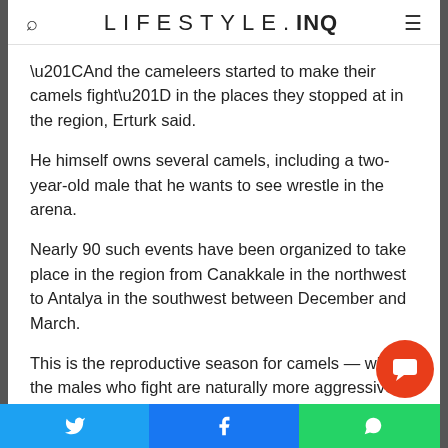LIFESTYLE.INQ
“And the cameleers started to make their camels fight” in the places they stopped at in the region, Erturk said.
He himself owns several camels, including a two-year-old male that he wants to see wrestle in the arena.
Nearly 90 such events have been organized to take place in the region from Canakkale in the northwest to Antalya in the southwest between December and March.
This is the reproductive season for camels — when the males who fight are naturally more aggressive — and a quieter period for residents, as agricultural activity slows in the winter.
Twitter | Facebook | WhatsApp